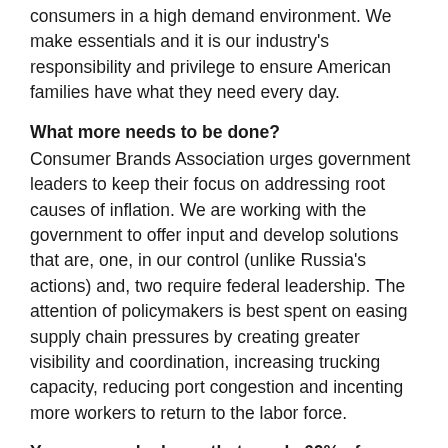consumers in a high demand environment. We make essentials and it is our industry's responsibility and privilege to ensure American families have what they need every day.
What more needs to be done?
Consumer Brands Association urges government leaders to keep their focus on addressing root causes of inflation. We are working with the government to offer input and develop solutions that are, one, in our control (unlike Russia's actions) and, two require federal leadership. The attention of policymakers is best spent on easing supply chain pressures by creating greater visibility and coordination, increasing trucking capacity, reducing port congestion and incenting more workers to return to the labor force.
Your research shows that nearly 60% of Americans in the workforce want flexibility. How are CPGs delivering on this when not all roles can be done from home?
CPG companies are doing everything they can to attract and